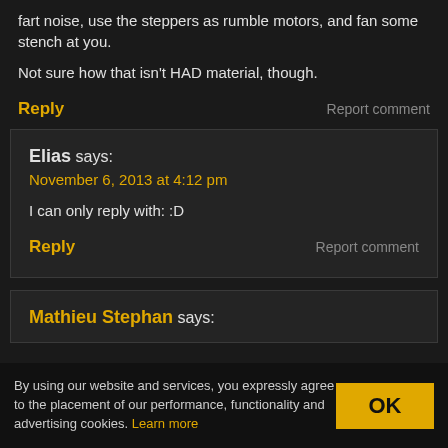fart noise, use the steppers as rumble motors, and fan some stench at you.
Not sure how that isn't HAD material, though.
Reply
Report comment
Elias says:
November 6, 2013 at 4:12 pm
I can only reply with: :D
Reply
Report comment
Mathieu Stephan says:
By using our website and services, you expressly agree to the placement of our performance, functionality and advertising cookies. Learn more
OK